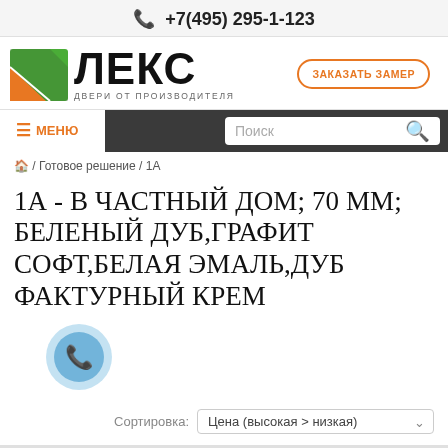+7(495) 295-1-123
[Figure (logo): ЛЕКС logo with green and orange geometric shape and tagline ДВЕРИ ОТ ПРОИЗВОДИТЕЛЯ]
ЗАКАЗАТЬ ЗАМЕР
≡ МЕНЮ
Поиск
🏠 / Готовое решение / 1А
1А - В ЧАСТНЫЙ ДОМ; 70 ММ; БЕЛЕНЫЙ ДУБ,ГРАФИТ СОФТ,БЕЛАЯ ЭМАЛЬ,ДУБ ФАКТУРНЫЙ КРЕМ
Сортировка: Цена (высокая > низкая)